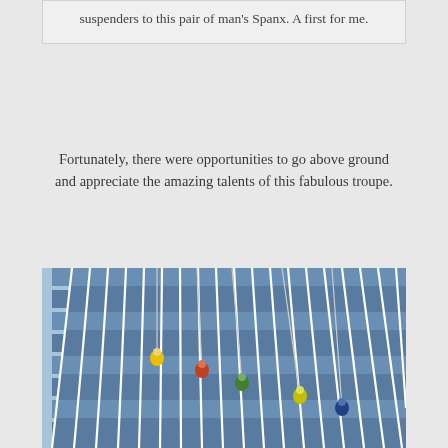suspenders to this pair of man's Spanx. A first for me.
Fortunately, there were opportunities to go above ground and appreciate the amazing talents of this fabulous troupe.
[Figure (photo): Photo looking up at a tall glass skyscraper facade with vertical white column dividers and blue glass. Five performers in colorful costumes (yellow, red/orange, green, yellow-green, blue) are rappelling down the building face on ropes.]